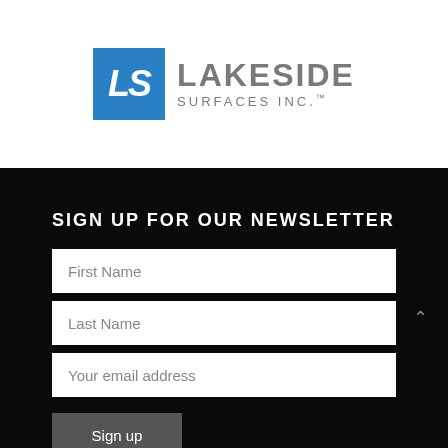[Figure (logo): Lakeside Surfaces Inc. logo with blue LS square icon and gray text]
SIGN UP FOR OUR NEWSLETTER
First Name
Last Name
Your email address
Sign up